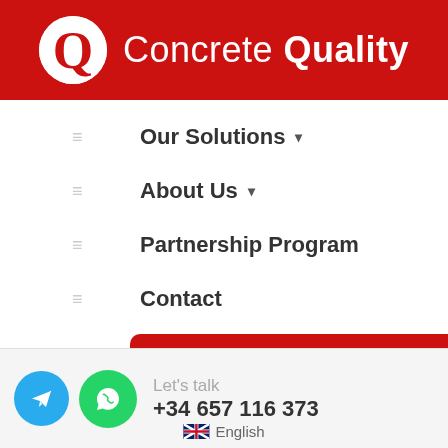[Figure (logo): Concrete Quality logo: red background header bar with white circle containing red Q letter and white text 'Concrete Quality']
Our Solutions ▾
About Us ▾
Partnership Program
Contact
Get a Demo
Let's talk +34 657 116 373
English